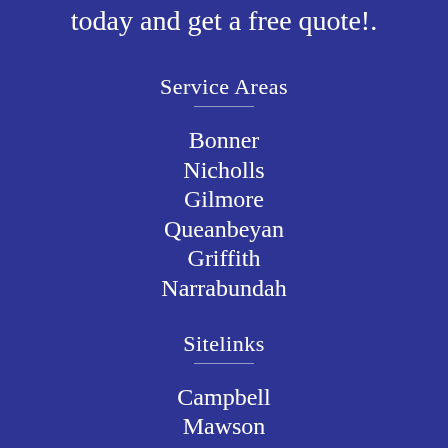today and get a free quote!.
Service Areas
Bonner
Nicholls
Gilmore
Queanbeyan
Griffith
Narrabundah
Sitelinks
Campbell
Mawson